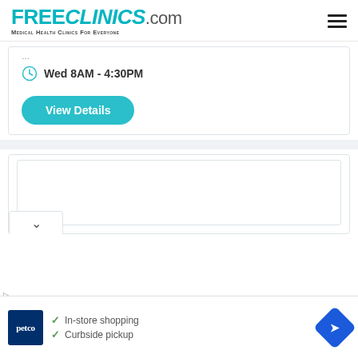[Figure (logo): FreeClinics.com logo with tagline 'Medical Health Clinics For Everyone' and hamburger menu icon]
Wed 8AM - 4:30PM
View Details
[Figure (screenshot): Empty white content card area with inner bordered box]
[Figure (infographic): Petco advertisement banner showing: In-store shopping, Curbside pickup, with Petco logo and navigation arrow]